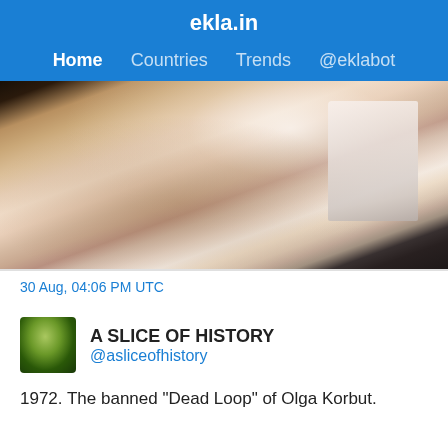ekla.in
Home  Countries  Trends  @eklabot
[Figure (photo): Blurry close-up photo showing what appears to be a gymnast's body in motion, with pink/beige tones and fabric visible, cropped view of athletic movement]
30 Aug, 04:06 PM UTC
A SLICE OF HISTORY
@asliceofhistory
1972. The banned "Dead Loop" of Olga Korbut.